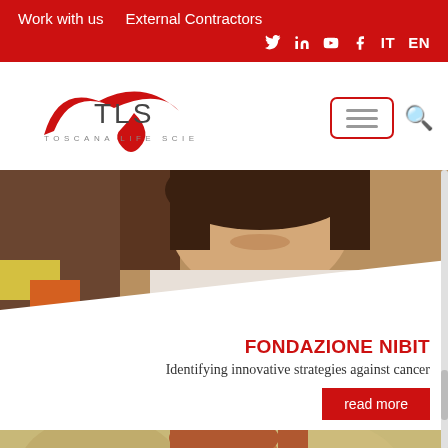Work with us   External Contractors
[Figure (logo): TLS Toscana Life Sciences logo with red swoosh graphic]
[Figure (photo): Woman in white lab coat smiling, holding laboratory equipment, laboratory setting]
FONDAZIONE NIBIT
Identifying innovative strategies against cancer
read more
[Figure (photo): Woman with reddish hair smiling, blurred background]